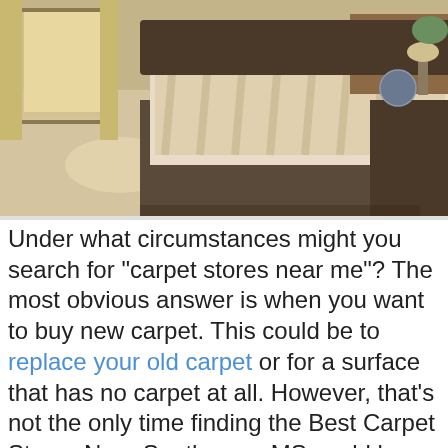[Figure (photo): Photo of a bedroom with beige carpet, a large bed with striped bedding, dark wood furniture including a nightstand with a globe and lamp, and a window with curtains in the background.]
Under what circumstances might you search for "carpet stores near me"? The most obvious answer is when you want to buy new carpet. This could be to replace your old carpet or for a surface that has no carpet at all. However, that's not the only time finding the Best Carpet Stores Near Southaven, MS could be beneficial. Many of them provide a wide variety